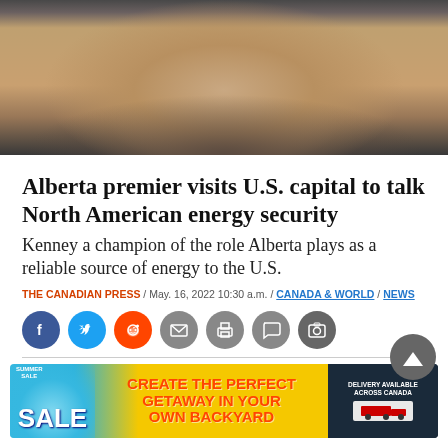[Figure (photo): Close-up photo of a man's face and neck, wearing a blue collared shirt and dark jacket, against a dark background.]
Alberta premier visits U.S. capital to talk North American energy security
Kenney a champion of the role Alberta plays as a reliable source of energy to the U.S.
THE CANADIAN PRESS / May. 16, 2022 10:30 a.m. / CANADA & WORLD / NEWS
[Figure (infographic): Social sharing buttons: Facebook, Twitter, Reddit, Email, Print, Comment, Photo]
[Figure (infographic): Advertisement banner: Summer Sale — Create the Perfect Getaway in Your Own Backyard]